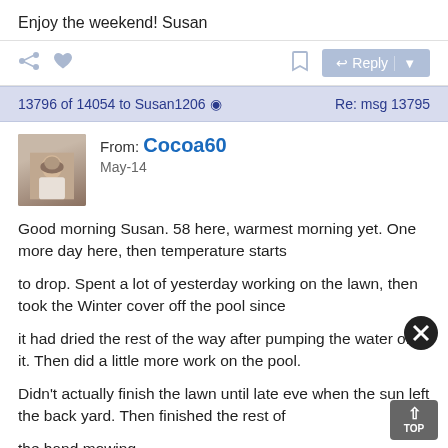Enjoy the weekend!   Susan
[Figure (screenshot): Forum action bar with share icon, heart icon, bookmark icon, and Reply button]
13796 of 14054 to Susan1206  Re: msg 13795
[Figure (photo): Avatar photo of user Cocoa60]
From: Cocoa60
May-14
Good morning Susan.  58 here, warmest morning yet.  One more day here, then temperature starts
to drop.  Spent a lot of yesterday working on the lawn, then took the Winter cover off the pool since
it had dried the rest of the way after pumping the water off it.  Then did a little more work on the pool.
Didn't actually finish the lawn until late eve when the sun left the back yard.  Then finished the rest of
the hand mowing.
I didn't mean it was a waste of time for us to help with the